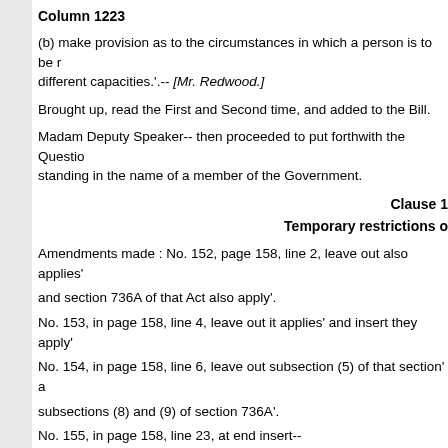Column 1223
(b) make provision as to the circumstances in which a person is to be regarded as acting in different capacities.'.-- [Mr. Redwood.]
Brought up, read the First and Second time, and added to the Bill.
Madam Deputy Speaker-- then proceeded to put forthwith the Question on Amendment standing in the name of a member of the Government.
Clause 1
Temporary restrictions o
Amendments made : No. 152, page 158, line 2, leave out also applies' and section 736A of that Act also apply'.
No. 153, in page 158, line 4, leave out it applies' and insert they apply'
No. 154, in page 158, line 6, leave out subsection (5) of that section' a subsections (8) and (9) of section 736A'.
No. 155, in page 158, line 23, at end insert--
(2) This section does not apply in relation to any merger reference ma
Clause 1
Obtaining contr...